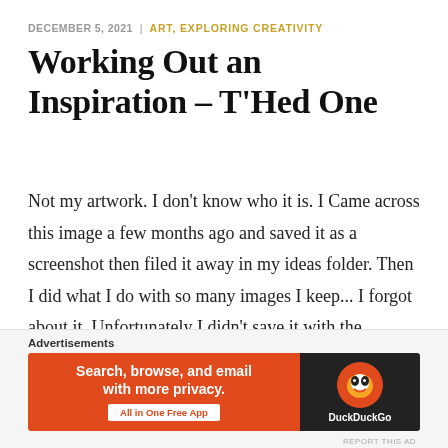DECEMBER 5, 2021 | ART, EXPLORING CREATIVITY
Working Out an Inspiration – T'Hed One
Not my artwork. I don't know who it is. I Came across this image a few months ago and saved it as a screenshot then filed it away in my ideas folder. Then I did what I do with so many images I keep... I forgot about it. Unfortunately I didn't save it with the ...
CONTINUE READING
[Figure (screenshot): DuckDuckGo advertisement banner: orange left panel with text 'Search, browse, and email with more privacy. All in One Free App' and dark right panel with DuckDuckGo logo]